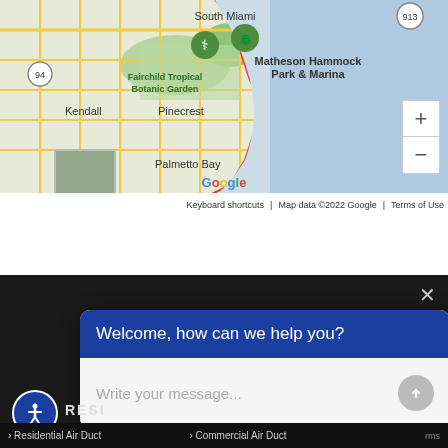[Figure (map): Google Maps screenshot showing South Miami area including Fairchild Tropical Botanic Garden, Matheson Hammock Park & Marina, Kendall, Pinecrest, Palmetto Bay, and Miami. Zoom controls visible on right. Map data ©2022 Google. Keyboard shortcuts and Terms of Use links at bottom.]
[Figure (screenshot): Chat widget popup on dark background. Header reads 'Welcome, how can we help you?' in blue. Input field with placeholder 'Write your message...' and send button. Close X button top right. Accessibility icon bottom left. Partial text 'RESI' and footer links 'Residential Air Duct' and 'Commercial Air Duct' at bottom.]